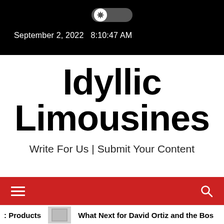[Figure (screenshot): Toggle switch with gear icon, white on black background]
September 2, 2022  8:10:47 AM
Idyllic Limousines
Write For Us | Submit Your Content
[Figure (other): Red navigation bar with hamburger menu icon on left and search icon on right]
: Products
What Next for David Ortiz and the Bos